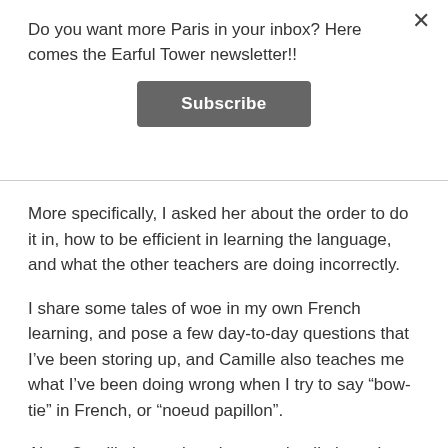Do you want more Paris in your inbox? Here comes the Earful Tower newsletter!!
Subscribe
More specifically, I asked her about the order to do it in, how to be efficient in learning the language, and what the other teachers are doing incorrectly.
I share some tales of woe in my own French learning, and pose a few day-to-day questions that I've been storing up, and Camille also teaches me what I've been doing wrong when I try to say “bow-tie” in French, or “noeud papillon”.
Also, Camille has written in great detail about the best method for learning French, so if you want some great